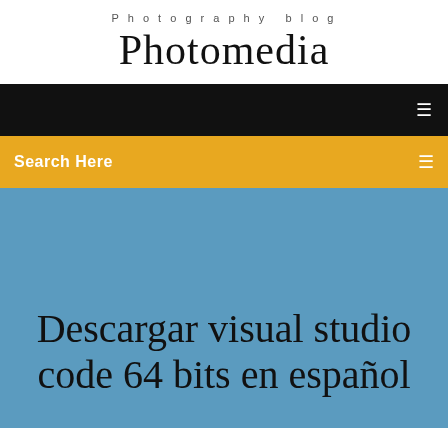Photography blog
Photomedia
[Figure (screenshot): Black navigation bar with a hamburger/menu icon on the right]
Search Here
Descargar visual studio code 64 bits en español